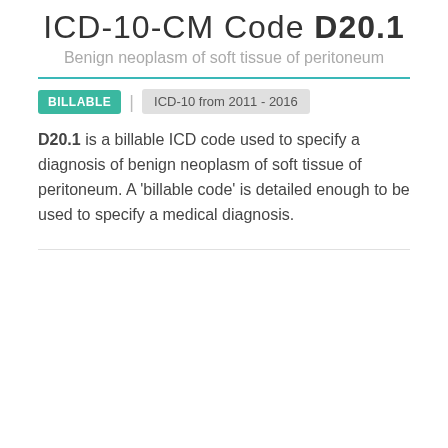ICD-10-CM Code D20.1
Benign neoplasm of soft tissue of peritoneum
BILLABLE | ICD-10 from 2011 - 2016
D20.1 is a billable ICD code used to specify a diagnosis of benign neoplasm of soft tissue of peritoneum. A 'billable code' is detailed enough to be used to specify a medical diagnosis.